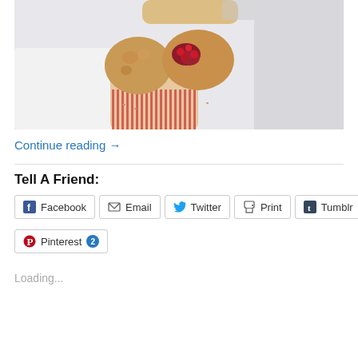[Figure (photo): A muffin broken in half showing a cranberry or berry filling inside, sitting in a red and white striped paper liner on a white plate]
Continue reading →
Tell A Friend:
Facebook
Email
Twitter
Print
Tumblr
Pinterest 2
Loading...